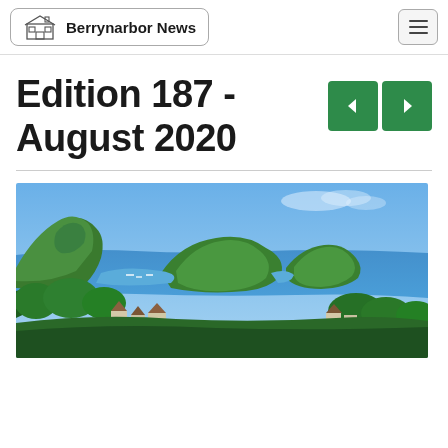Berrynarbor News
Edition 187 - August 2020
[Figure (photo): Scenic coastal landscape photograph showing green hills, a bay with boats, blue sea and sky, and village rooftops in the foreground with lush trees]